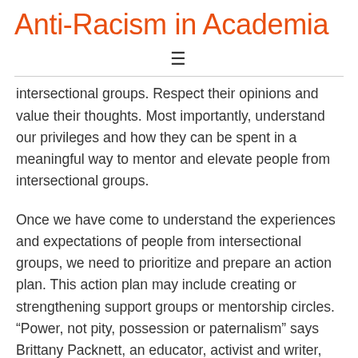Anti-Racism in Academia
intersectional groups. Respect their opinions and value their thoughts. Most importantly, understand our privileges and how they can be spent in a meaningful way to mentor and elevate people from intersectional groups.
Once we have come to understand the experiences and expectations of people from intersectional groups, we need to prioritize and prepare an action plan. This action plan may include creating or strengthening support groups or mentorship circles. “Power, not pity, possession or paternalism” says Brittany Packnett, an educator, activist and writer, when referring to how the